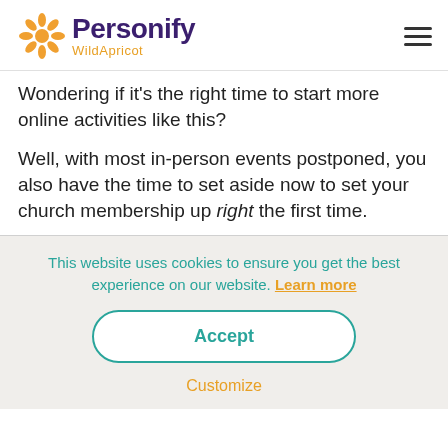Personify WildApricot
Wondering if it's the right time to start more online activities like this?
Well, with most in-person events postponed, you also have the time to set aside now to set your church membership up right the first time.
This website uses cookies to ensure you get the best experience on our website. Learn more
Accept
Customize